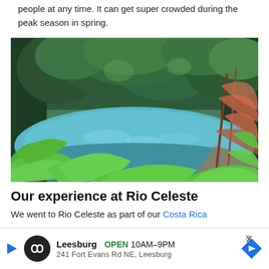people at any time. It can get super crowded during the peak season in spring.
[Figure (photo): A turquoise-blue river (Rio Celeste) surrounded by dense green tropical rainforest vegetation, with large-leafed plants in the foreground.]
Our experience at Rio Celeste
We went to Rio Celeste as part of our Costa Rica
[Figure (other): Advertisement bar: Leesburg OPEN 10AM-9PM, 241 Fort Evans Rd NE, Leesburg, with logo and navigation arrow button.]